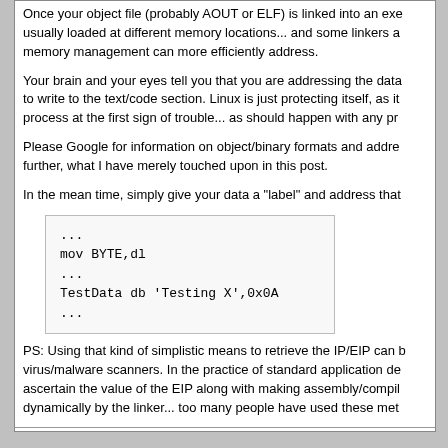Once your object file (probably AOUT or ELF) is linked into an exe usually loaded at different memory locations... and some linkers a memory management can more efficiently address.
Your brain and your eyes tell you that you are addressing the data to write to the text/code section. Linux is just protecting itself, as it process at the first sign of trouble... as should happen with any pr
Please Google for information on object/binary formats and addre further, what I have merely touched upon in this post.
In the mean time, simply give your data a "label" and address that
[Figure (screenshot): Code box with assembly/NASM snippet: ... mov BYTE,dl ... TestData db 'Testing X',0x0A ...]
PS: Using that kind of simplistic means to retrieve the IP/EIP can b virus/malware scanners. In the practice of standard application de ascertain the value of the EIP along with making assembly/compil dynamically by the linker... too many people have used these met
Posted on 2007-03-30 22:17:07 by SpooK